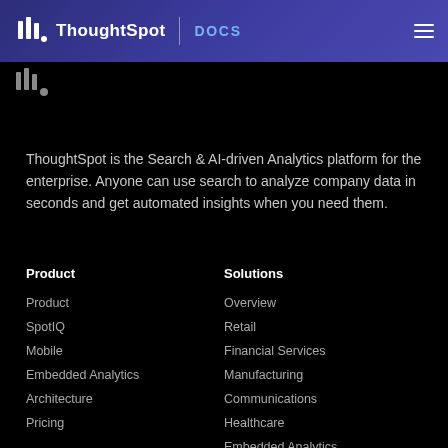ThoughtSpot | DOCS
[Figure (logo): ThoughtSpot logo mark (bar chart icon with dot)]
ThoughtSpot is the Search & AI-driven Analytics platform for the enterprise. Anyone can use search to analyze company data in seconds and get automated insights when you need them.
Product
Product
SpotIQ
Mobile
Embedded Analytics
Architecture
Pricing
Solutions
Overview
Retail
Financial Services
Manufacturing
Communications
Healthcare
Embedded Analytics
Procurement